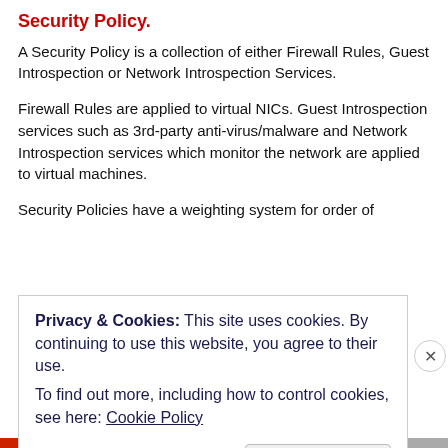Security Policy.
A Security Policy is a collection of either Firewall Rules, Guest Introspection or Network Introspection Services.
Firewall Rules are applied to virtual NICs. Guest Introspection services such as 3rd-party anti-virus/malware and Network Introspection services which monitor the network are applied to virtual machines.
Security Policies have a weighting system for order of
Privacy & Cookies: This site uses cookies. By continuing to use this website, you agree to their use.
To find out more, including how to control cookies, see here: Cookie Policy
Close and accept